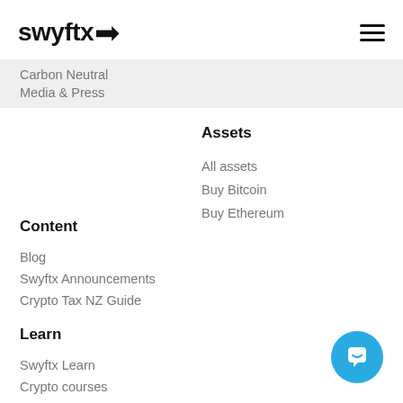swyftx
Carbon Neutral
Media & Press
Assets
All assets
Buy Bitcoin
Buy Ethereum
Content
Blog
Swyftx Announcements
Crypto Tax NZ Guide
Learn
Swyftx Learn
Crypto courses
Crypto quizzes